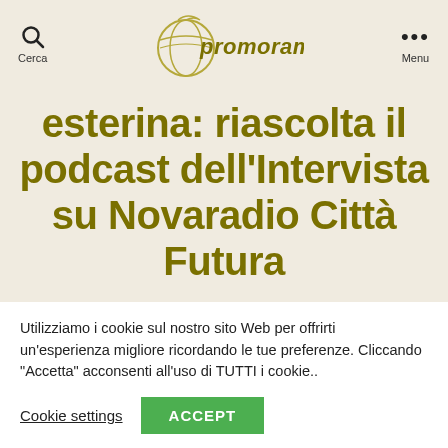Cerca | Promorama | Menu
esterina: riascolta il podcast dell'Intervista su Novaradio Città Futura
Utilizziamo i cookie sul nostro sito Web per offrirti un'esperienza migliore ricordando le tue preferenze. Cliccando "Accetta" acconsenti all'uso di TUTTI i cookie..
Cookie settings   ACCEPT